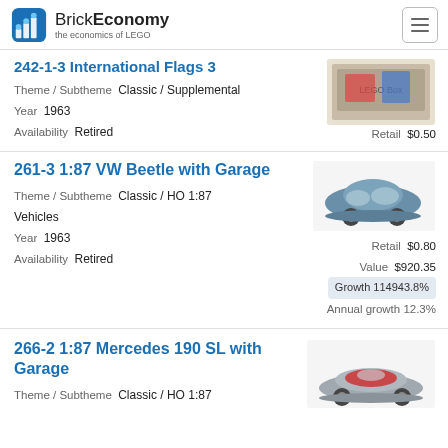BrickEconomy — the economics of LEGO
242-1-3 International Flags 3
Theme / Subtheme  Classic / Supplemental
Year  1963
Availability  Retired
Retail  $0.50
[Figure (photo): Product box for LEGO 242-1-3 International Flags 3]
261-3 1:87 VW Beetle with Garage
Theme / Subtheme  Classic / HO 1:87 Vehicles
Year  1963
Availability  Retired
Retail  $0.80
Value  $920.35
Growth  114943.8%
Annual growth  12.3%
[Figure (photo): LEGO 261-3 1:87 VW Beetle — blue die-cast model car]
266-2 1:87 Mercedes 190 SL with Garage
Theme / Subtheme  Classic / HO 1:87
[Figure (photo): LEGO 266-2 1:87 Mercedes 190 SL — grey die-cast model car with red interior]